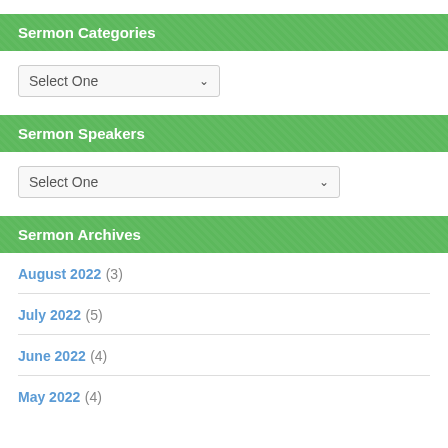Sermon Categories
Select One (dropdown)
Sermon Speakers
Select One (dropdown)
Sermon Archives
August 2022 (3)
July 2022 (5)
June 2022 (4)
May 2022 (4)